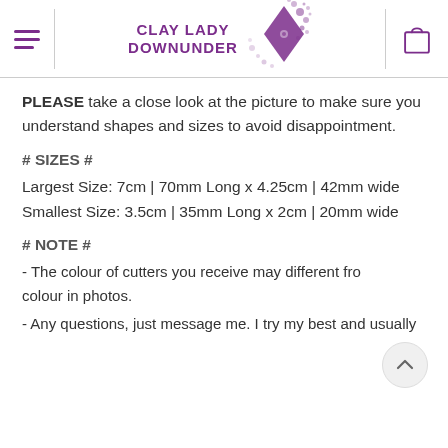CLAY LADY DOWNUNDER
PLEASE take a close look at the picture to make sure you understand shapes and sizes to avoid disappointment.
# SIZES #
Largest Size: 7cm | 70mm Long x 4.25cm | 42mm wide
Smallest Size: 3.5cm | 35mm Long x 2cm | 20mm wide
# NOTE #
- The colour of cutters you receive may different fro colour in photos.
- Any questions, just message me. I try my best and usually